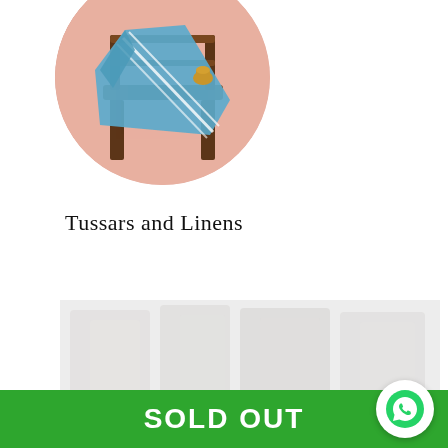[Figure (photo): Circular cropped photo showing a blue fabric/saree draped over a wooden chair against a pink/salmon background, with a small brass object on the chair]
Tussars and Linens
[Figure (photo): Faded/watermarked background image showing fabric or clothing items, partially visible]
SOLD OUT